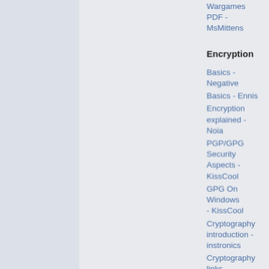Wargames PDF - MsMittens
Encryption
Basics - Negative
Basics - Ennis
Encryption explained - Noia
PGP/GPG Security Aspects - KissCool
GPG On Windows - KissCool
Cryptography introduction - instronics
Cryptography links - Angelus
Public Key Cryptography - hypronix
Anonymity
The Proxomitron - Negative
Tracing - mutt
Avoid the RIAA - neta1o